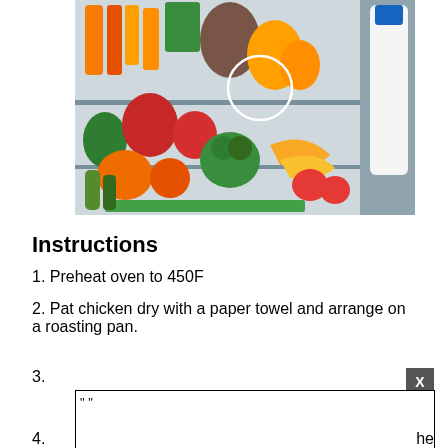[Figure (photo): Photograph of an open refrigerator filled with fresh vegetables, fruits, and a milk bottle. A white circle is drawn on the image highlighting an area near the center.]
Instructions
1. Preheat oven to 450F
2. Pat chicken dry with a paper towel and arrange on a roasting pan.
3. " "
4. he